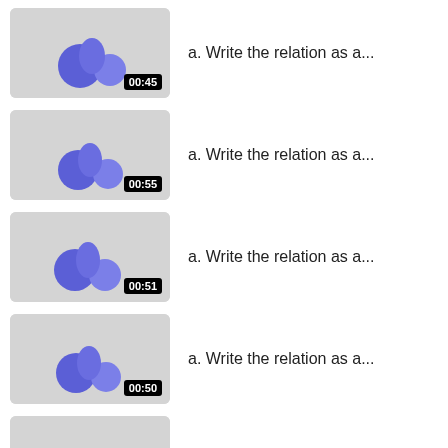00:45 — a. Write the relation as a...
00:55 — a. Write the relation as a...
00:51 — a. Write the relation as a...
00:50 — a. Write the relation as a...
00:52 — a. Write the domain in set...
01:44 — Determine the domain and r...
— Identify the domain a...